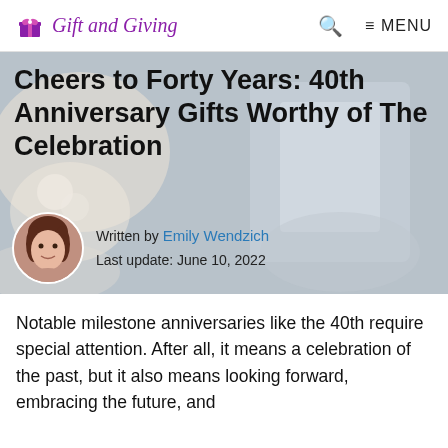Gift and Giving  🔍  ≡ MENU
[Figure (photo): Hero image with blurred background showing gifts/flowers. Large article title overlaid: 'Cheers to Forty Years: 40th Anniversary Gifts Worthy of The Celebration'. Author photo (circular) and byline: Written by Emily Wendzich, Last update: June 10, 2022.]
Cheers to Forty Years: 40th Anniversary Gifts Worthy of The Celebration
Written by Emily Wendzich
Last update: June 10, 2022
Notable milestone anniversaries like the 40th require special attention. After all, it means a celebration of the past, but it also means looking forward, embracing the future, and